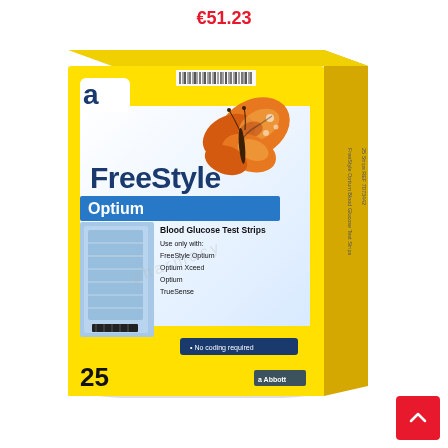€51.23
[Figure (photo): Product photo of FreeStyle Optium Blood Glucose Test Strips box (25 strips) by Abbott, in yellow packaging with butterfly image, blue Optium banner, and No coding required badge. Price shown as €51.23 above the box.]
[Figure (other): Red scroll-to-top button in bottom right corner with white upward arrow.]